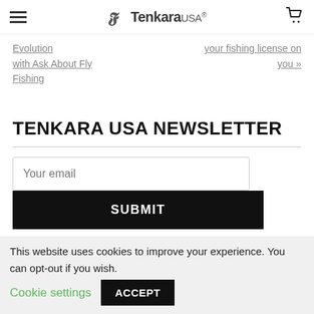Tenkara USA
Evolution with Ask About Fly Fishing
your fishing license on you »
TENKARA USA NEWSLETTER
Your email
SUBMIT
This website uses cookies to improve your experience. You can opt-out if you wish. Cookie settings ACCEPT